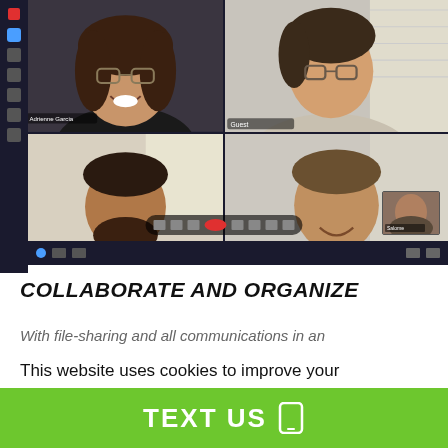[Figure (screenshot): Video call screenshot showing four participants in a 2x2 grid layout. Top-left: woman with glasses smiling. Top-right: woman with glasses in grey sweater. Bottom-left: man with beard. Bottom-right: man in green shirt. Interface shows a dark sidebar on the left and toolbar at the bottom.]
COLLABORATE AND ORGANIZE
With file-sharing and all communications in an
This website uses cookies to improve your experience. We'll assume you're ok with this, but you can opt-out if you wish.
TEXT US